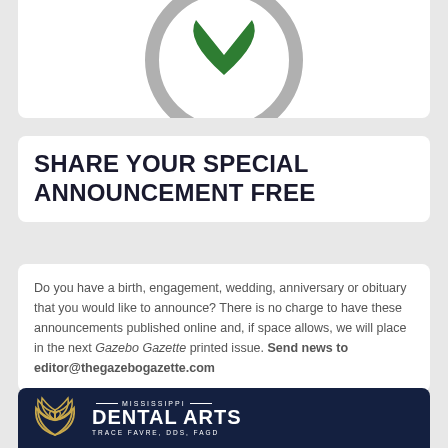[Figure (illustration): Partial view of a circular gray shield/badge icon with a green checkmark or heart shape inside, cropped at top]
SHARE YOUR SPECIAL ANNOUNCEMENT FREE
Do you have a birth, engagement, wedding, anniversary or obituary that you would like to announce? There is no charge to have these announcements published online and, if space allows, we will place in the next Gazebo Gazette printed issue. Send news to editor@thegazebogazette.com
[Figure (logo): Mississippi Dental Arts advertisement with dark navy background, gold flower/lotus logo on left, and text: MISSISSIPPI DENTAL ARTS, TRACE FAVRE, DDS, FAGD]